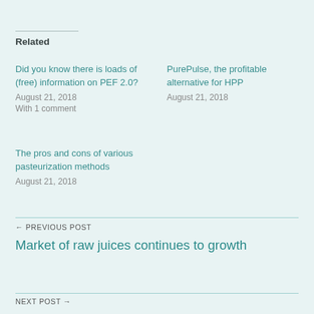Related
Did you know there is loads of (free) information on PEF 2.0?
August 21, 2018
With 1 comment
PurePulse, the profitable alternative for HPP
August 21, 2018
The pros and cons of various pasteurization methods
August 21, 2018
← PREVIOUS POST
Market of raw juices continues to growth
NEXT POST →